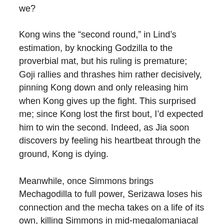we?
Kong wins the “second round,” in Lind’s estimation, by knocking Godzilla to the proverbial mat, but his ruling is premature; Goji rallies and thrashes him rather decisively, pinning Kong down and only releasing him when Kong gives up the fight. This surprised me; since Kong lost the first bout, I’d expected him to win the second. Indeed, as Jia soon discovers by feeling his heartbeat through the ground, Kong is dying.
Meanwhile, once Simmons brings Mechagodilla to full power, Serizawa loses his connection and the mecha takes on a life of its own, killing Simmons in mid-megalomaniacal speech. Implicitly, King Ghidorah’s consciousness has taken it over, in a beat similar to the one in Godzilla Against Mechagodzilla where Kiryu was